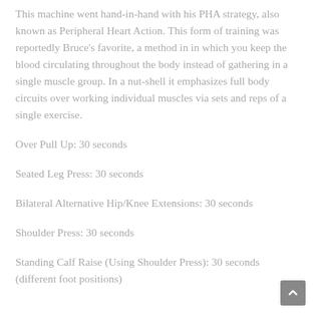This machine went hand-in-hand with his PHA strategy, also known as Peripheral Heart Action. This form of training was reportedly Bruce's favorite, a method in in which you keep the blood circulating throughout the body instead of gathering in a single muscle group. In a nut-shell it emphasizes full body circuits over working individual muscles via sets and reps of a single exercise.
Over Pull Up: 30 seconds
Seated Leg Press: 30 seconds
Bilateral Alternative Hip/Knee Extensions: 30 seconds
Shoulder Press: 30 seconds
Standing Calf Raise (Using Shoulder Press): 30 seconds (different foot positions)